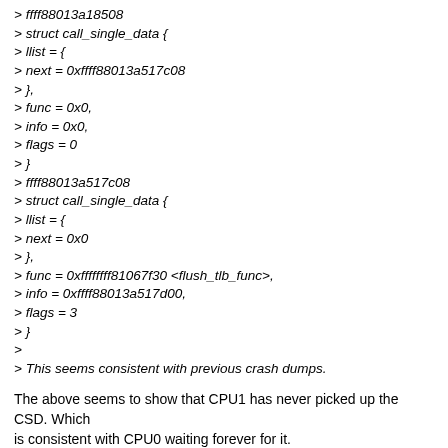> ffff88013a18508
> struct call_single_data {
> llist = {
> next = 0xffff88013a517c08
> },
> func = 0x0,
> info = 0x0,
> flags = 0
> }
> ffff88013a517c08
> struct call_single_data {
> llist = {
> next = 0x0
> },
> func = 0xffffffff81067f30 <flush_tlb_func>,
> info = 0xffff88013a517d00,
> flags = 3
> }
> 
> This seems consistent with previous crash dumps.
The above seems to show that CPU1 has never picked up the CSD. Which
is consistent with CPU0 waiting forever for it.
It really looks like CPU1 is simply not reacting to the IPI even